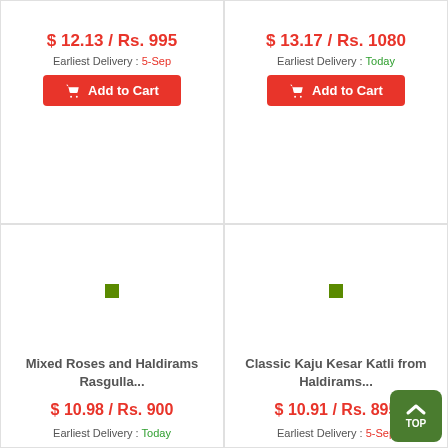$ 12.13 / Rs. 995
Earliest Delivery : 5-Sep
Add to Cart
$ 13.17 / Rs. 1080
Earliest Delivery : Today
Add to Cart
[Figure (illustration): Product image placeholder for Mixed Roses and Haldirams Rasgulla with green veg square icon]
Mixed Roses and Haldirams Rasgulla...
$ 10.98 / Rs. 900
Earliest Delivery : Today
[Figure (illustration): Product image placeholder for Classic Kaju Kesar Katli from Haldirams with green veg square icon]
Classic Kaju Kesar Katli from Haldirams...
$ 10.91 / Rs. 895
Earliest Delivery : 5-Sep